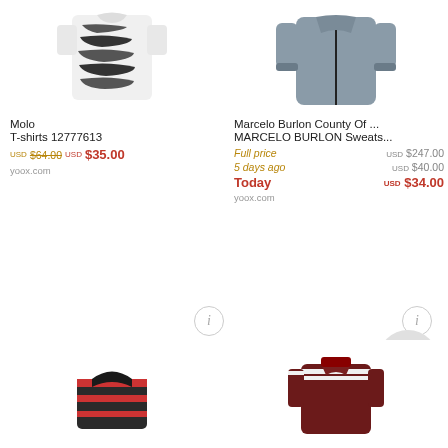[Figure (photo): Zebra print t-shirt, white background, top-left product]
[Figure (photo): Gray zip-up sweatshirt/jacket, top-right product]
Molo
T-shirts 12777613
USD $64.00 USD $35.00
yoox.com
Marcelo Burlon County Of ...
MARCELO BURLON Sweats...
Full price USD $247.00
5 days ago USD $40.00
Today USD $34.00
yoox.com
[Figure (photo): Dark striped collar/scarf item, bottom-left product]
[Figure (photo): Burgundy/maroon sweater with white stripes, bottom-right product]